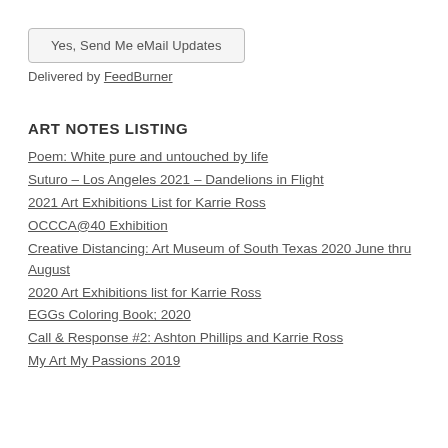Yes, Send Me eMail Updates
Delivered by FeedBurner
ART NOTES LISTING
Poem: White pure and untouched by life
Suturo – Los Angeles 2021 – Dandelions in Flight
2021 Art Exhibitions List for Karrie Ross
OCCCA@40 Exhibition
Creative Distancing: Art Museum of South Texas 2020 June thru August
2020 Art Exhibitions list for Karrie Ross
EGGs Coloring Book; 2020
Call & Response #2: Ashton Phillips and Karrie Ross
My Art My Passions 2019